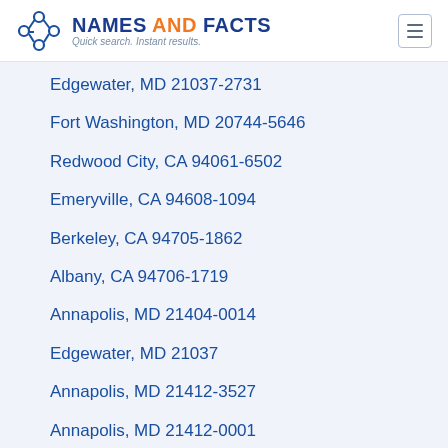NAMES AND FACTS — Quick search. Instant results.
Edgewater, MD 21037-2731
Fort Washington, MD 20744-5646
Redwood City, CA 94061-6502
Emeryville, CA 94608-1094
Berkeley, CA 94705-1862
Albany, CA 94706-1719
Annapolis, MD 21404-0014
Edgewater, MD 21037
Annapolis, MD 21412-3527
Annapolis, MD 21412-0001
Edgewater, MD 21037-0393
Bradenton, FL 34211-1712